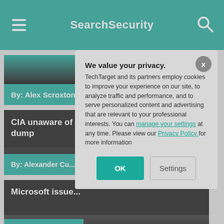SearchSecurity
By: Alex Scroxton
CIA unaware of Vault 7 theft until WikiLeaks dump
By: Alexander Cu...
Microsoft issue...
By: Tom Walat
We value your privacy. TechTarget and its partners employ cookies to improve your experience on our site, to analyze traffic and performance, and to serve personalized content and advertising that are relevant to your professional interests. You can manage your settings at any time. Please view our Privacy Policy for more information